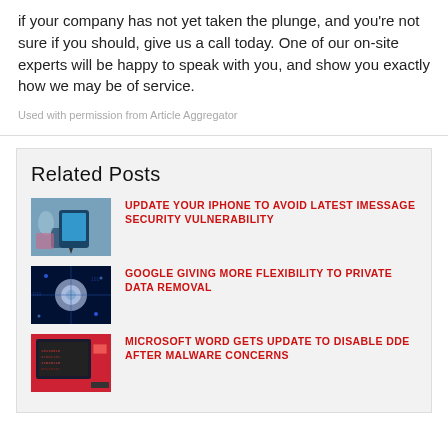if your company has not yet taken the plunge, and you're not sure if you should, give us a call today. One of our on-site experts will be happy to speak with you, and show you exactly how we may be of service.
Used with permission from Article Aggregator
Related Posts
UPDATE YOUR IPHONE TO AVOID LATEST IMESSAGE SECURITY VULNERABILITY
GOOGLE GIVING MORE FLEXIBILITY TO PRIVATE DATA REMOVAL
MICROSOFT WORD GETS UPDATE TO DISABLE DDE AFTER MALWARE CONCERNS